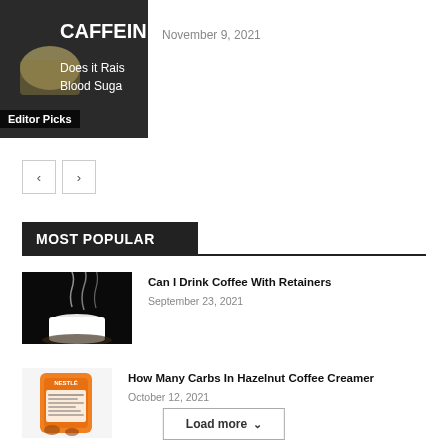[Figure (photo): Partial caffeine article thumbnail showing coffee cup and text 'Does it Raise Blood Sugar' with Editor Picks badge]
November 9, 2021
[Figure (other): Pagination navigation with left and right arrow buttons]
MOST POPULAR
[Figure (photo): Steaming white coffee cup on dark background]
Can I Drink Coffee With Retainers
September 23, 2021
[Figure (photo): Orange hazelnut coffee creamer bag packaging]
How Many Carbs In Hazelnut Coffee Creamer
October 12, 2021
Load more